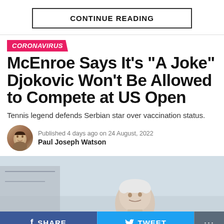CONTINUE READING
CORONAVIRUS
McEnroe Says It’s “A Joke” Djokovic Won’t Be Allowed to Compete at US Open
Tennis legend defends Serbian star over vaccination status.
Published 4 days ago on 24 August, 2022
Paul Joseph Watson
[Figure (photo): Photo of an older man with white hair looking upward, appearing to be John McEnroe, against a light sky background]
SHARE   TWEET   ...